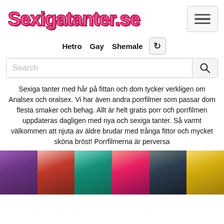Sexigatanter.se
Hetro  Gay  Shemale
Search
Sexiga tanter med hår på fittan och dom tycker verkligen om Analsex och oralsex. Vi har även andra porrfilmer som passar dom flesta smaker och behag. Allt är helt gratis porr och porrfilmen uppdateras dagligen med nya och sexiga tanter. Så varmt välkommen att njuta av äldre brudar med trånga fittor och mycket sköna bröst! Porrfilmerna är perversa
[Figure (photo): Strip of six thumbnail images showing women in various outfits: purple dress, red/white costume, teal dress, pink outfit, dark lingerie, yellow outfit]